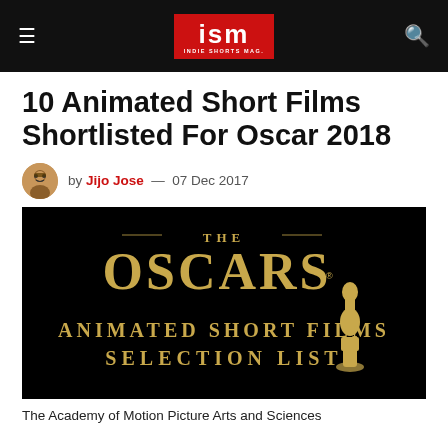ISM — Indie Shorts Mag.
10 Animated Short Films Shortlisted For Oscar 2018
by Jijo Jose — 07 Dec 2017
[Figure (photo): The Oscars branded image with gold lettering on black background reading 'THE OSCARS — ANIMATED SHORT FILMS SELECTION LIST' with Oscar statuette silhouette]
The Academy of Motion Picture Arts and Sciences